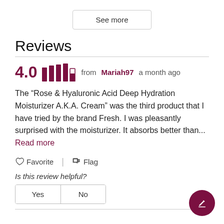See more
Reviews
4.0  from Mariah97 a month ago
The “Rose & Hyaluronic Acid Deep Hydration Moisturizer A.K.A. Cream” was the third product that I have tried by the brand Fresh. I was pleasantly surprised with the moisturizer. It absorbs better than... Read more
Favorite  Flag
Is this review helpful?
Yes  No